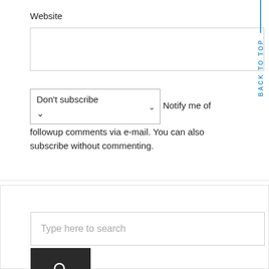Website
Don't subscribe  ∨  Notify me of followup comments via e-mail. You can also subscribe without commenting.
Post Comment
BACK TO TOP
Type here to search